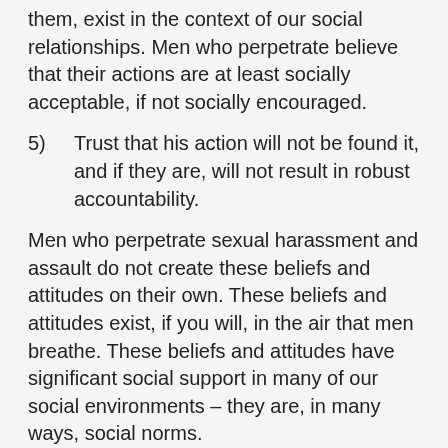them, exist in the context of our social relationships. Men who perpetrate believe that their actions are at least socially acceptable, if not socially encouraged.
5)	Trust that his action will not be found it, and if they are, will not result in robust accountability.
Men who perpetrate sexual harassment and assault do not create these beliefs and attitudes on their own. These beliefs and attitudes exist, if you will, in the air that men breathe. These beliefs and attitudes have significant social support in many of our social environments – they are, in many ways, social norms.
One of the things about social norms is that they are so subtle. For the most part, we don't necessarily notice the social norms that surround us – they are normal. We don't generally notice what we believe is normal. So countering social norms, firstly, demands we pay a